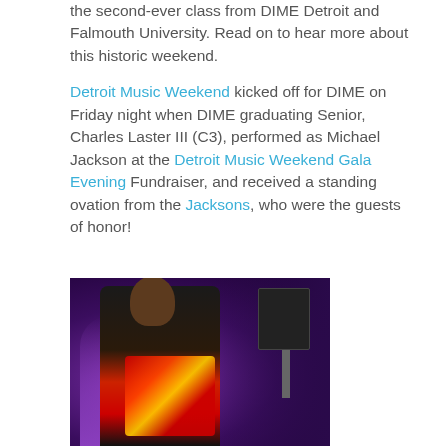the second-ever class from DIME Detroit and Falmouth University. Read on to hear more about this historic weekend.
Detroit Music Weekend kicked off for DIME on Friday night when DIME graduating Senior, Charles Laster III (C3), performed as Michael Jackson at the Detroit Music Weekend Gala Evening Fundraiser, and received a standing ovation from the Jacksons, who were the guests of honor!
[Figure (photo): A young man at the Detroit Music Weekend Gala Evening, holding a red sequined Michael Jackson-style jacket, with purple-lit venue and stage equipment visible in the background.]